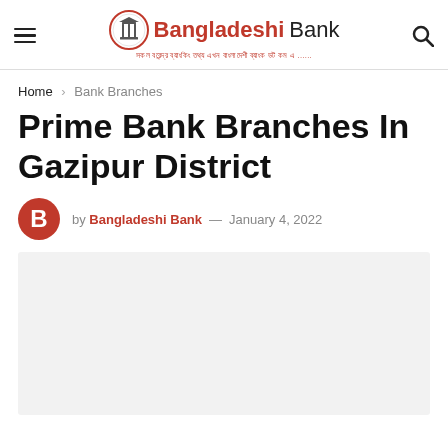Bangladeshi Bank
Home › Bank Branches
Prime Bank Branches In Gazipur District
by Bangladeshi Bank — January 4, 2022
[Figure (other): Light gray placeholder rectangle representing article content area]